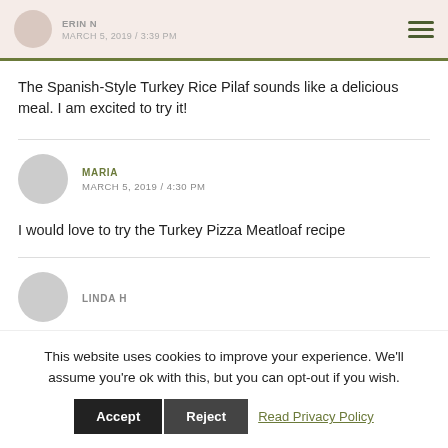ERIN N
MARCH 5, 2019 / 3:39 PM
The Spanish-Style Turkey Rice Pilaf sounds like a delicious meal. I am excited to try it!
MARIA
MARCH 5, 2019 / 4:30 PM
I would love to try the Turkey Pizza Meatloaf recipe
LINDA H
This website uses cookies to improve your experience. We'll assume you're ok with this, but you can opt-out if you wish.  Accept  Reject  Read Privacy Policy